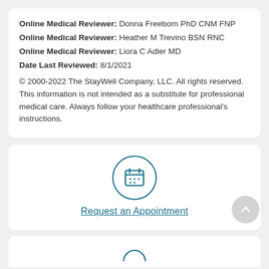Online Medical Reviewer: Donna Freeborn PhD CNM FNP
Online Medical Reviewer: Heather M Trevino BSN RNC
Online Medical Reviewer: Liora C Adler MD
Date Last Reviewed: 8/1/2021
© 2000-2022 The StayWell Company, LLC. All rights reserved. This information is not intended as a substitute for professional medical care. Always follow your healthcare professional's instructions.
[Figure (illustration): Calendar icon inside a teal circle outline, representing appointment scheduling]
Request an Appointment